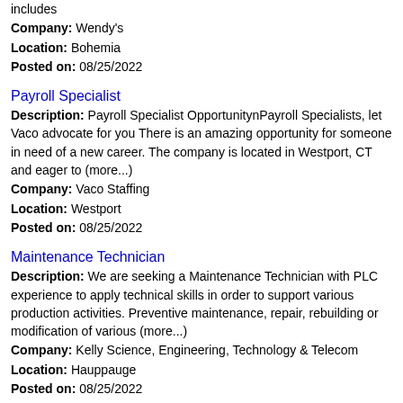includes
Company: Wendy's
Location: Bohemia
Posted on: 08/25/2022
Payroll Specialist
Description: Payroll Specialist OpportunitynPayroll Specialists, let Vaco advocate for you There is an amazing opportunity for someone in need of a new career. The company is located in Westport, CT and eager to (more...)
Company: Vaco Staffing
Location: Westport
Posted on: 08/25/2022
Maintenance Technician
Description: We are seeking a Maintenance Technician with PLC experience to apply technical skills in order to support various production activities. Preventive maintenance, repair, rebuilding or modification of various (more...)
Company: Kelly Science, Engineering, Technology & Telecom
Location: Hauppauge
Posted on: 08/25/2022